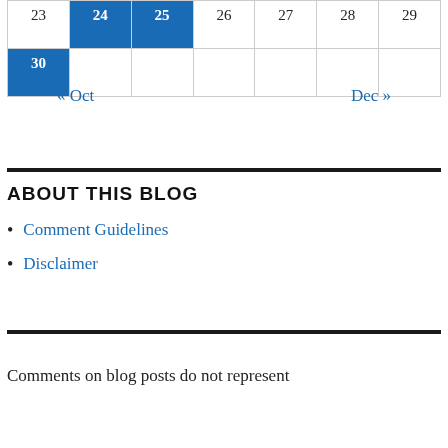| 23 | 24 | 25 | 26 | 27 | 28 | 29 |
| 30 |  |  |  |  |  |  |
« Oct    Dec »
ABOUT THIS BLOG
Comment Guidelines
Disclaimer
Comments on blog posts do not represent